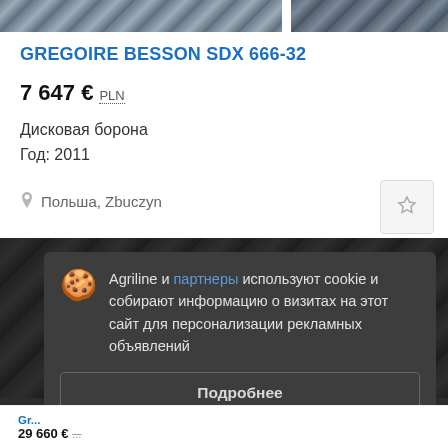[Figure (screenshot): Partial product image strip at top showing two thumbnail images of agricultural equipment]
GREGOIRE BESSON SDX 666-32
7 647 €  PLN
Дисковая борона
Год: 2011
Польша, Zbuczyn
Agriline и партнеры используют cookie и собирают информацию о визитах на этот сайт для персонализации рекламных объявлений
Подробнее
Согласиться и закрыть
Gr...
29 660 €